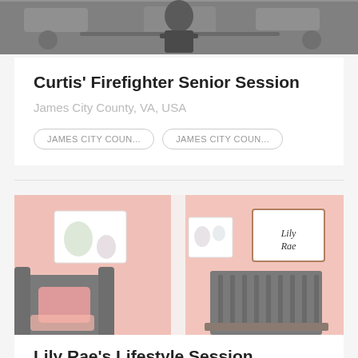[Figure (photo): Black and white photo of a person (firefighter) at top of card, partially cropped]
Curtis' Firefighter Senior Session
James City County, VA, USA
JAMES CITY COUN...
JAMES CITY COUN...
[Figure (photo): Color photo of a nursery room with pink walls, gray armchair with pink pillow, and gray crib. A sign reading 'Lily Rae' is visible on the wall.]
Lily Rae's Lifestyle Session